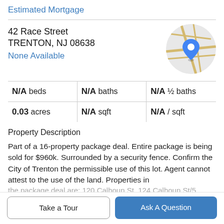Estimated Mortgage
42 Race Street
TRENTON, NJ 08638
None Available
[Figure (map): Circular map thumbnail showing a street map with a blue location pin marker.]
| N/A beds | N/A baths | N/A ½ baths |
| 0.03 acres | N/A sqft | N/A / sqft |
Property Description
Part of a 16-property package deal. Entire package is being sold for $960k. Surrounded by a security fence. Confirm the City of Trenton the permissible use of this lot. Agent cannot attest to the use of the land. Properties in
the package deal are: 120 Calhoun St, 124 Calhoun St/5
Take a Tour
Ask A Question